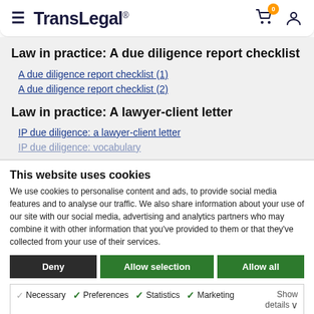TransLegal® — navigation header with hamburger menu, cart icon (0 items), and user icon
Law in practice: A due diligence report checklist
A due diligence report checklist (1)
A due diligence report checklist (2)
Law in practice: A lawyer-client letter
IP due diligence: a lawyer-client letter
IP due diligence: vocabulary
This website uses cookies
We use cookies to personalise content and ads, to provide social media features and to analyse our traffic. We also share information about your use of our site with our social media, advertising and analytics partners who may combine it with other information that you've provided to them or that they've collected from your use of their services.
Deny | Allow selection | Allow all
Necessary | Preferences | Statistics | Marketing | Show details